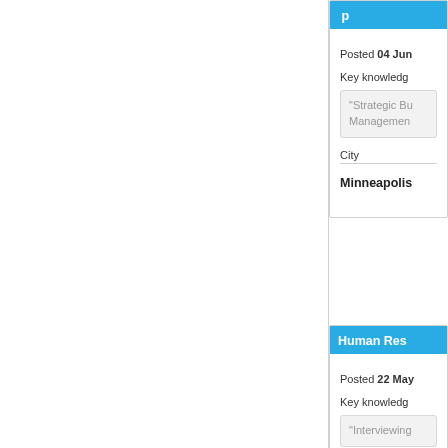Posted 04 Jun
Key knowledge
"Strategic Bu... Managemen...
City
Minneapolis
Human Res...
Posted 22 May
Key knowledge
"Interviewing...